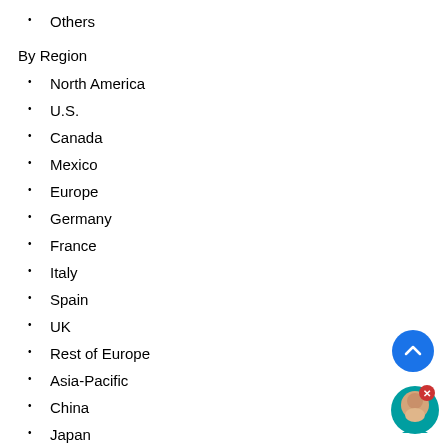Others
By Region
North America
U.S.
Canada
Mexico
Europe
Germany
France
Italy
Spain
UK
Rest of Europe
Asia-Pacific
China
Japan
India
South Korea
Rest of Asia-Pacific